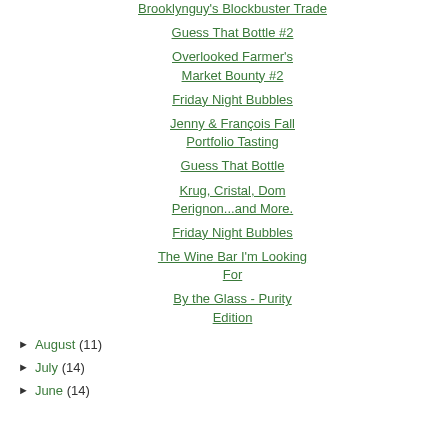Brooklynguy's Blockbuster Trade
Guess That Bottle #2
Overlooked Farmer's Market Bounty #2
Friday Night Bubbles
Jenny & François Fall Portfolio Tasting
Guess That Bottle
Krug, Cristal, Dom Perignon...and More.
Friday Night Bubbles
The Wine Bar I'm Looking For
By the Glass - Purity Edition
► August (11)
► July (14)
► June (14)
Louis/Dressner Selec... I sent you another e-ma...
This is very upsetting.
Please contact me by e...
9/25/2008 5:27 PM
Anonymous said... Hello everybody,
I am from Spain and i c... or tasting this wine i am... get it over there, just do... Marqués de la Concord... one. In Spain you can f... fantastic wine. For mor... http://www.deblancoati... 50
10/29/2008 11:04 AM
Post a Comment